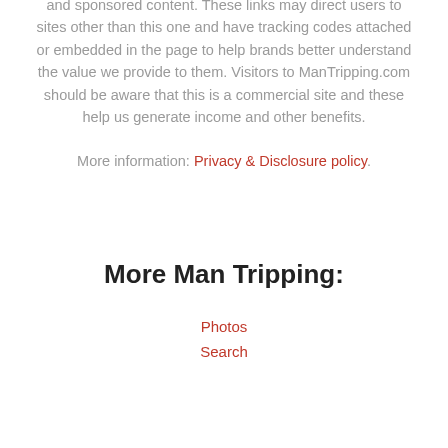and sponsored content. These links may direct users to sites other than this one and have tracking codes attached or embedded in the page to help brands better understand the value we provide to them. Visitors to ManTripping.com should be aware that this is a commercial site and these help us generate income and other benefits.
More information: Privacy & Disclosure policy.
More Man Tripping:
Photos
Search